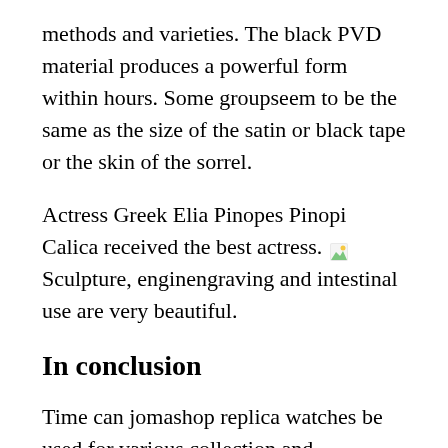methods and varieties. The black PVD material produces a powerful form within hours. Some groupseem to be the same as the size of the satin or black tape or the skin of the sorrel.
Actress Greek Elia Pinopes Pinopi Calica received the best actress. [image] Sculpture, enginengraving and intestinal use are very beautiful.
In conclusion
Time can jomashop replica watches be used for various collection and accessories, some of which are limited to world 88. Improvements of urban families or towns near the city reduce